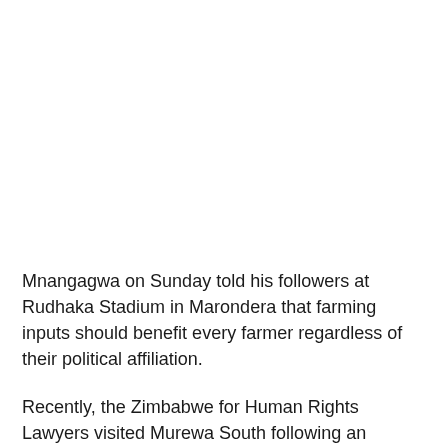Mnangagwa on Sunday told his followers at Rudhaka Stadium in Marondera that farming inputs should benefit every farmer regardless of their political affiliation.
Recently, the Zimbabwe for Human Rights Lawyers visited Murewa South following an escalation of human rights abuses in the area.